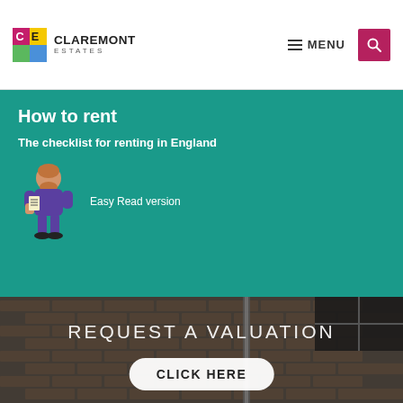[Figure (logo): Claremont Estates logo with colorful CE initials and company name]
≡ MENU
[Figure (illustration): Teal banner showing 'How to rent - The checklist for renting in England' with an illustration of a person holding a checklist and the text 'Easy Read version']
[Figure (photo): Dark moody photo of a brick building with a bicycle and a drainpipe, overlaid with text 'REQUEST A VALUATION' and a 'CLICK HERE' button]